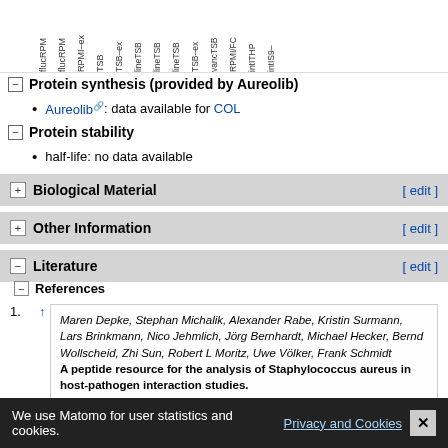[Figure (other): Partial view of rotated column header labels from a table above: flucRPM, flucRPM, RPMI-ex, TSB, TSB-ex, lineTSB, lineTSB, lineTSB, TSB-ex, vancTSB, RPMI/FC, intITHP, intIS9-]
Protein synthesis (provided by Aureolib)
Aureolib: data available for COL
Protein stability
half-life: no data available
Biological Material [ edit ]
Other Information [ edit ]
Literature [ edit ]
References
1. ↑ Maren Depke, Stephan Michalik, Alexander Rabe, Kristin Surmann, Lars Brinkmann, Nico Jehmlich, Jörg Bernhardt, Michael Hecker, Bernd Wollscheid, Zhi Sun, Robert L Moritz, Uwe Völker, Frank Schmidt. A peptide resource for the analysis of Staphylococcus aureus in host-pathogen interaction studies. Proteomics. 2015; 15(21):3648-61
2. ↑ Stephan Michalik, Maren Depke, ...
We use Matomo for user statistics and cookies.